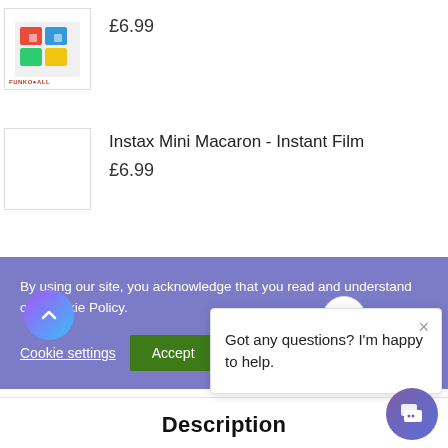£6.99
Instax Mini Macaron - Instant Film
£6.99
By using our site, you acknowledge that you read and understand our Cookie Policy.
Cookie settings
Accept
Got any questions? I'm happy to help.
Description